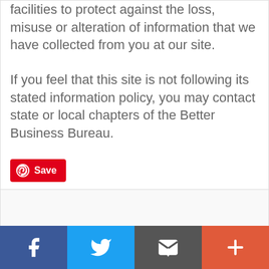security measures in place in our physical facilities to protect against the loss, misuse or alteration of information that we have collected from you at our site.
If you feel that this site is not following its stated information policy, you may contact state or local chapters of the Better Business Bureau.
[Figure (other): Red Pinterest Save button with Pinterest logo icon]